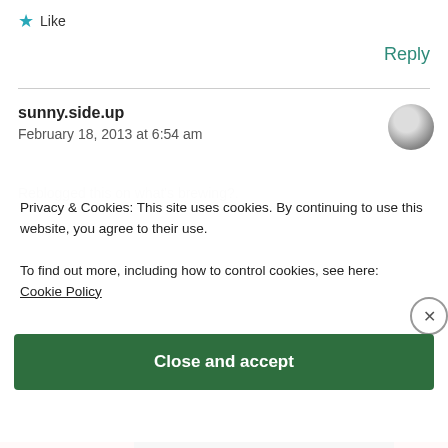★ Like
Reply
sunny.side.up
February 18, 2013 at 6:54 am
Reblogged this on what's brewing?.
Privacy & Cookies: This site uses cookies. By continuing to use this website, you agree to their use.
To find out more, including how to control cookies, see here:
Cookie Policy
Close and accept